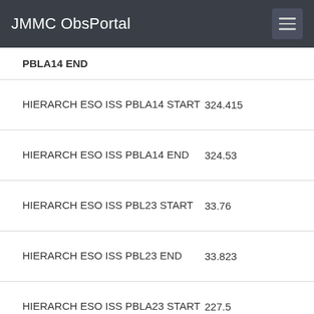JMMC ObsPortal
| Key | Value |
| --- | --- |
| PBLA14 END |  |
| HIERARCH ESO ISS PBLA14 START | 324.415 |
| HIERARCH ESO ISS PBLA14 END | 324.53 |
| HIERARCH ESO ISS PBL23 START | 33.76 |
| HIERARCH ESO ISS PBL23 END | 33.823 |
| HIERARCH ESO ISS PBLA23 START | 227.5 |